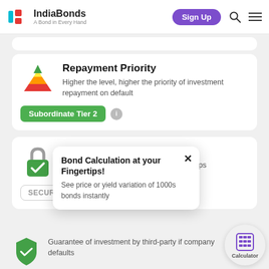IndiaBonds — A Bond in Every Hand
Repayment Priority
Higher the level, higher the priority of investment repayment on default
Subordinate Tier 2
Security with Collateral?
An investment secured with collateral helps
SECURE
Bond Calculation at your Fingertips!
See price or yield variation of 1000s bonds instantly
Guarantee of investment by third-party if company defaults